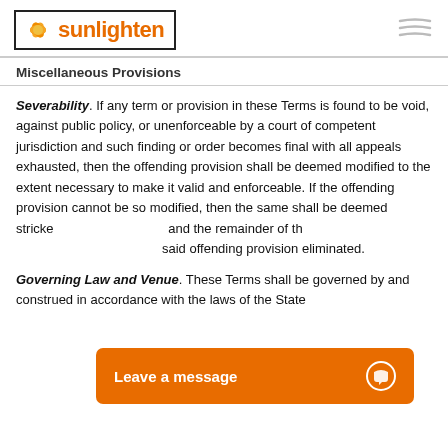sunlighten logo and navigation
Miscellaneous Provisions
Severability. If any term or provision in these Terms is found to be void, against public policy, or unenforceable by a court of competent jurisdiction and such finding or order becomes final with all appeals exhausted, then the offending provision shall be deemed modified to the extent necessary to make it valid and enforceable. If the offending provision cannot be so modified, then the same shall be deemed stricken from these Terms in their entirety and the remainder of these Terms shall continue in full force with said offending provision eliminated.
Governing Law and Venue. These Terms shall be governed by and construed in accordance with the laws of the State